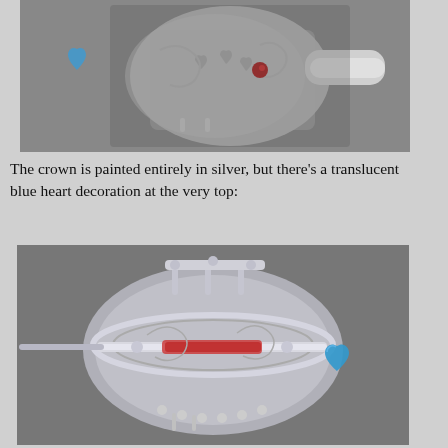[Figure (photo): Silver filigree crown-shaped jewelry piece photographed from an angle showing ornate scrollwork and a small blue heart decoration at the top, with a cylindrical clasp/connector on the right side.]
The crown is painted entirely in silver, but there's a translucent blue heart decoration at the very top:
[Figure (photo): Bottom view of the same silver filigree crown jewelry piece, showing the interior structure, a pin/bar mechanism, and the translucent blue heart decoration visible on the right side.]